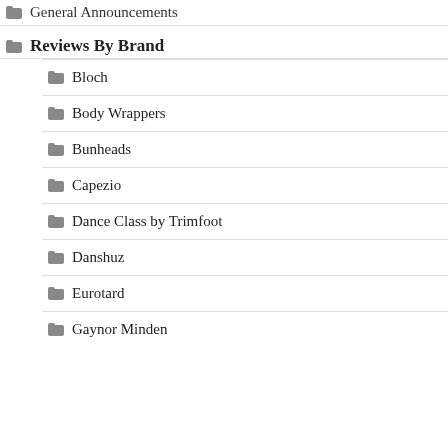General Announcements
Reviews By Brand
Bloch
Body Wrappers
Bunheads
Capezio
Dance Class by Trimfoot
Danshuz
Eurotard
Gaynor Minden